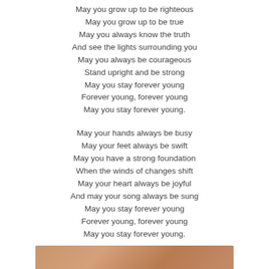May you grow up to be righteous
May you grow up to be true
May you always know the truth
And see the lights surrounding you
May you always be courageous
Stand upright and be strong
May you stay forever young
Forever young, forever young
May you stay forever young.
May your hands always be busy
May your feet always be swift
May you have a strong foundation
When the winds of changes shift
May your heart always be joyful
And may your song always be sung
May you stay forever young
Forever young, forever young
May you stay forever young.
[Figure (photo): Partial photo of a person, warm skin tones visible, cropped at bottom of page]